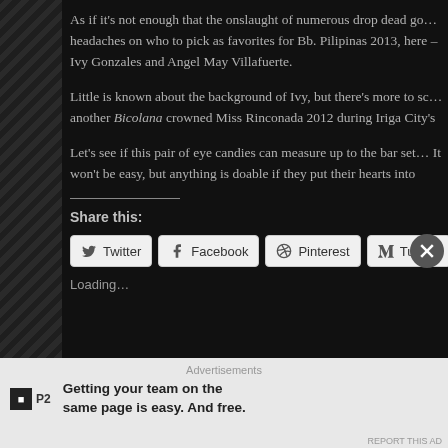As if it's not enough that the onslaught of numerous drop dead go... headaches on who to pick as favorites for Bb. Pilipinas 2013, here – Ivy Gonzales and Angel May Villafuerte.
Little is known about the background of Ivy, but there's more to sc... another Bicolana crowned Miss Rinconada 2012 during Iriga City's...
Let's see if this pair of eye candies can measure up to the bar set... It won't be easy, but anything is doable if they put their hearts into...
Share this:
[Figure (screenshot): Social share buttons: Twitter, Facebook, Pinterest, Tumblr, Email]
Loading...
Advertisements
[Figure (infographic): P2 advertisement: Getting your team on the same page is easy. And free.]